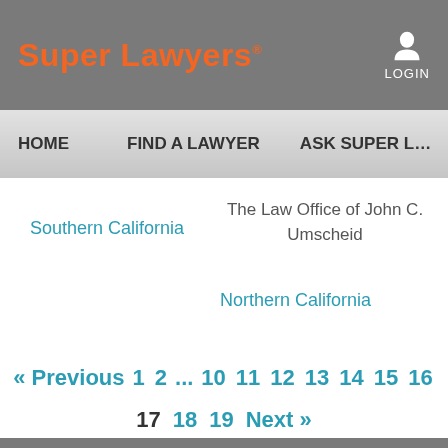Super Lawyers®  LOGIN
HOME   FIND A LAWYER   ASK SUPER L…
The Law Office of John C. Umscheid
Southern California
Northern California
« Previous  1  2  ...  10  11  12  13  14  15  16  17  18  19  Next »